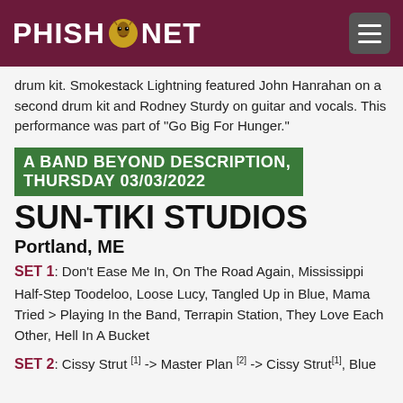PHISH.NET
drum kit. Smokestack Lightning featured John Hanrahan on a second drum kit and Rodney Sturdy on guitar and vocals. This performance was part of "Go Big For Hunger."
A BAND BEYOND DESCRIPTION, THURSDAY 03/03/2022
SUN-TIKI STUDIOS
Portland, ME
SET 1: Don't Ease Me In, On The Road Again, Mississippi Half-Step Toodeloo, Loose Lucy, Tangled Up in Blue, Mama Tried > Playing In the Band, Terrapin Station, They Love Each Other, Hell In A Bucket
SET 2: Cissy Strut [1] -> Master Plan [2] -> Cissy Strut[1], Blue [?]